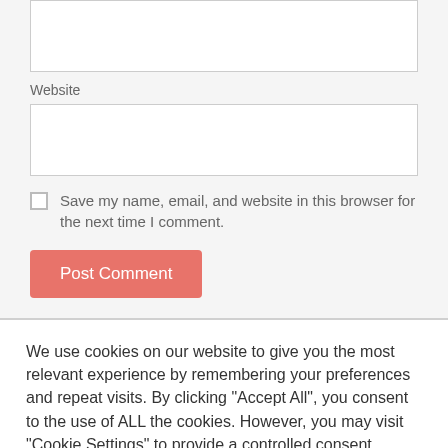Website
Save my name, email, and website in this browser for the next time I comment.
Post Comment
We use cookies on our website to give you the most relevant experience by remembering your preferences and repeat visits. By clicking “Accept All”, you consent to the use of ALL the cookies. However, you may visit "Cookie Settings" to provide a controlled consent.
Cookie Settings
Accept All